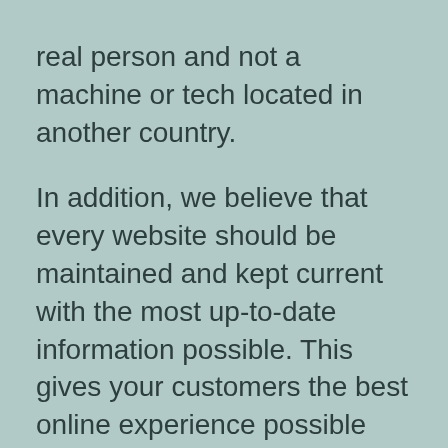real person and not a machine or tech located in another country.

In addition, we believe that every website should be maintained and kept current with the most up-to-date information possible. This gives your customers the best online experience possible and assists with your search engine placement. As a benefit to our web hosting customers our web hosting packages include one hour website design and support services each month at no additional cost! This is a $90.00 value! Add or change copy and content, keep your